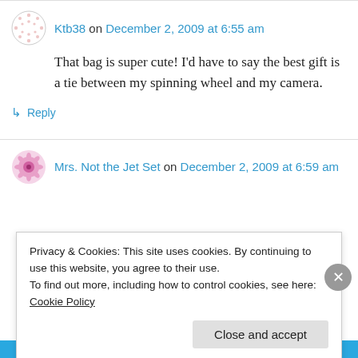Ktb38 on December 2, 2009 at 6:55 am
That bag is super cute! I’d have to say the best gift is a tie between my spinning wheel and my camera.
↳ Reply
Mrs. Not the Jet Set on December 2, 2009 at 6:59 am
Privacy & Cookies: This site uses cookies. By continuing to use this website, you agree to their use.
To find out more, including how to control cookies, see here: Cookie Policy